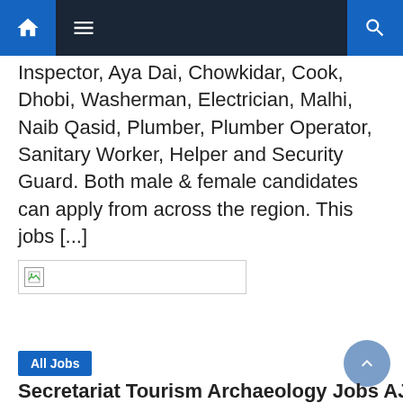Navigation bar with home, menu, and search icons
Inspector, Aya Dai, Chowkidar, Cook, Dhobi, Washerman, Electrician, Malhi, Naib Qasid, Plumber, Plumber Operator, Sanitary Worker, Helper and Security Guard. Both male & female candidates can apply from across the region. This jobs [...]
[Figure (photo): Broken image placeholder thumbnail]
All Jobs
Secretariat Tourism Archaeology Jobs AJK 2021